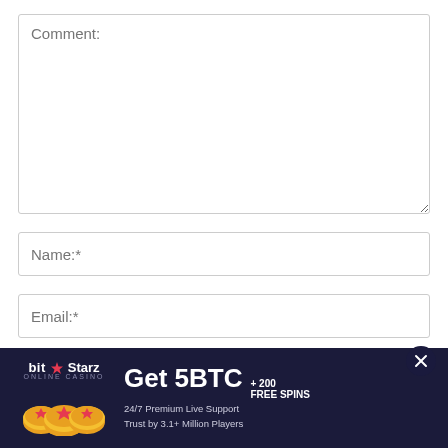Comment:
Name:*
Email:*
Website:
Save my name, email, and website in this browser for the next time I comment.
[Figure (infographic): BitStarz Online Casino advertisement banner with coins graphic. Text reads: bit★Starz ONLINE CASINO, Get 5BTC + 200 FREE SPINS, 24/7 Premium Live Support, Trust by 3.1+ Million Players]